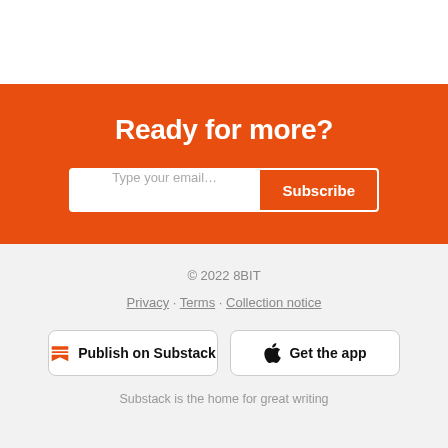Ready for more?
Type your email...
Subscribe
© 2022 8BIT
Privacy · Terms · Collection notice
Publish on Substack
Get the app
Substack is the home for great writing